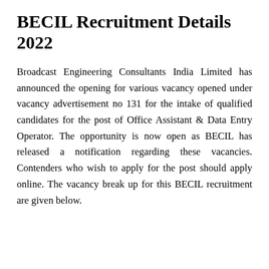BECIL Recruitment Details 2022
Broadcast Engineering Consultants India Limited has announced the opening for various vacancy opened under vacancy advertisement no 131 for the intake of qualified candidates for the post of Office Assistant & Data Entry Operator. The opportunity is now open as BECIL has released a notification regarding these vacancies. Contenders who wish to apply for the post should apply online. The vacancy break up for this BECIL recruitment are given below.